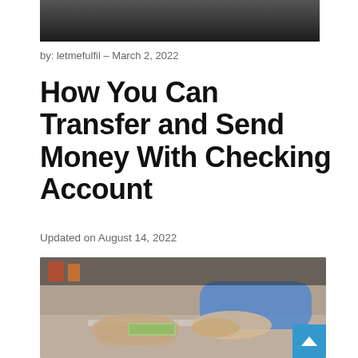[Figure (photo): Top cropped photo showing a dark background, partially visible scene]
by: letmefulfil – March 2, 2022
How You Can Transfer and Send Money With Checking Account
Updated on August 14, 2022
[Figure (photo): Photo of two hands exchanging cash money over a bank counter, one person in a blue shirt handing bills to another person]